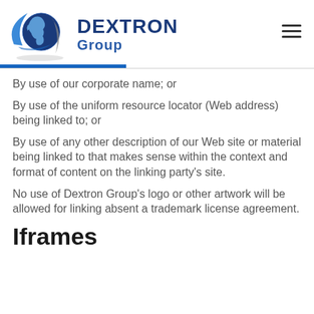[Figure (logo): Dextron Group logo with globe and swoosh graphic, company name in dark blue]
By use of our corporate name; or
By use of the uniform resource locator (Web address) being linked to; or
By use of any other description of our Web site or material being linked to that makes sense within the context and format of content on the linking party's site.
No use of Dextron Group's logo or other artwork will be allowed for linking absent a trademark license agreement.
Iframes